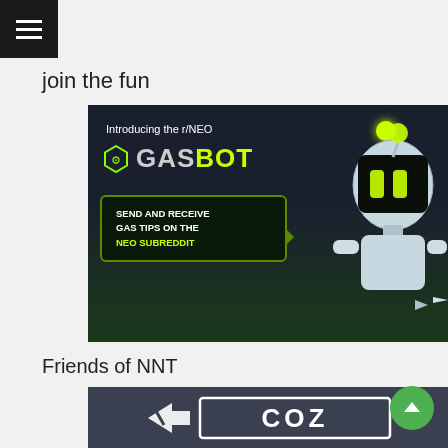join the fun
[Figure (illustration): Promotional banner for the r/NEO GASBOT — a robot with glowing green eyes and a speech bubble reading 'SEND AND RECEIVE GAS TIPS ON THE NEO SUBREDDIT'. Dark background with green accents.]
Friends of NNT
[Figure (logo): COZ logo on dark grey background — stylized double arrow icon followed by 'COZ' text in a bordered rectangle.]